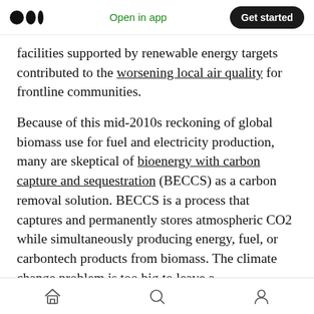Open in app | Get started
facilities supported by renewable energy targets contributed to the worsening local air quality for frontline communities.
Because of this mid-2010s reckoning of global biomass use for fuel and electricity production, many are skeptical of bioenergy with carbon capture and sequestration (BECCS) as a carbon removal solution. BECCS is a process that captures and permanently stores atmospheric CO2 while simultaneously producing energy, fuel, or carbontech products from biomass. The climate change problem is too big to leave a
Home | Search | Profile